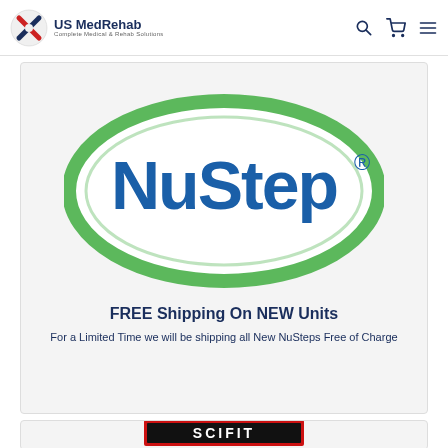US MedRehab — Complete Medical & Rehab Solutions
[Figure (logo): NuStep oval logo with green ellipse border and blue NuStep text]
FREE Shipping On NEW Units
For a Limited Time we will be shipping all New NuSteps Free of Charge
[Figure (logo): SCIFIT logo — partial view showing red and black brand name]